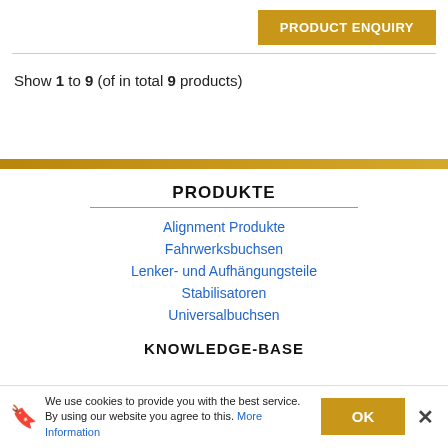PRODUCT ENQUIRY
Show 1 to 9 (of in total 9 products)
PRODUKTE
Alignment Produkte
Fahrwerksbuchsen
Lenker- und Aufhängungsteile
Stabilisatoren
Universalbuchsen
KNOWLEDGE-BASE
We use cookies to provide you with the best service. By using our website you agree to this. More Information